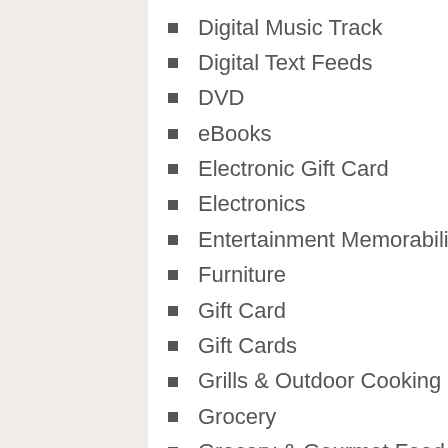Digital Music Track
Digital Text Feeds
DVD
eBooks
Electronic Gift Card
Electronics
Entertainment Memorabilia
Furniture
Gift Card
Gift Cards
Grills & Outdoor Cooking
Grocery
Grocery & Gourmet Food
Grocery & Gourmet Food
Guild Product
Handmade Products
Health & Household